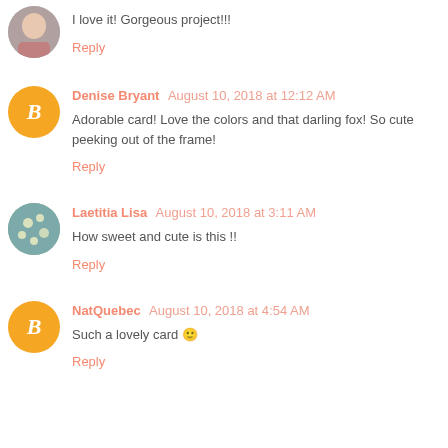I love it! Gorgeous project!!!
Reply
Denise Bryant August 10, 2018 at 12:12 AM
Adorable card! Love the colors and that darling fox! So cute peeking out of the frame!
Reply
Laetitia Lisa August 10, 2018 at 3:11 AM
How sweet and cute is this !!
Reply
NatQuebec August 10, 2018 at 4:54 AM
Such a lovely card 🙂
Reply